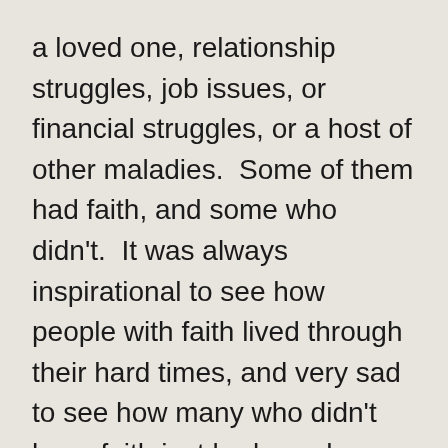a loved one, relationship struggles, job issues, or financial struggles, or a host of other maladies.  Some of them had faith, and some who didn't.  It was always inspirational to see how people with faith lived through their hard times, and very sad to see how many who didn't have faith just broken when their lives stopped going well.
That's the experience that today's Liturgy of the Word puts before us, I think.  Let's look at the context.  In last week's Gospel, Jesus has cured two people miraculously.  He actually raised 1...